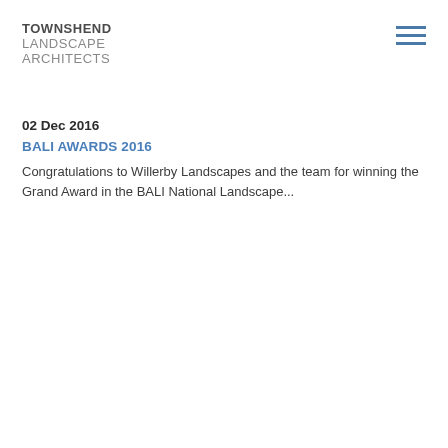TOWNSHEND LANDSCAPE ARCHITECTS
02 Dec 2016
BALI AWARDS 2016
Congratulations to Willerby Landscapes and the team for winning the Grand Award in the BALI National Landscape...